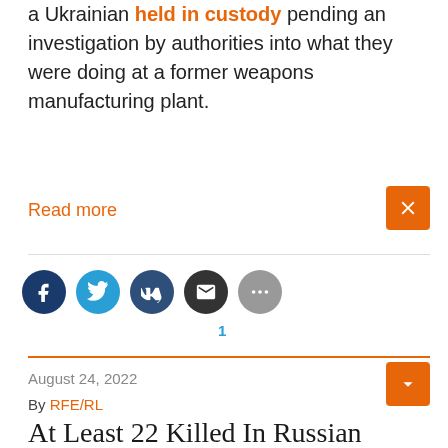a Ukrainian held in custody pending an investigation by authorities into what they were doing at a former weapons manufacturing plant.
Read more
[Figure (other): Social share buttons: Facebook, Twitter, VK, Email, More. Share count: 1]
August 24, 2022
By RFE/RL
At Least 22 Killed In Russian Rocket Attack On Ukrainian